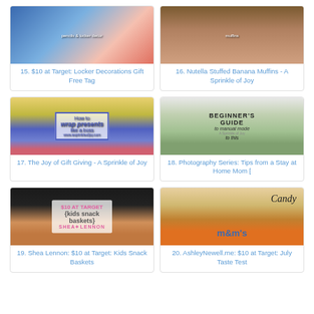[Figure (photo): Card 15: Locker decorations with colored pencils and blue background]
15. $10 at Target: Locker Decorations Gift Free Tag
[Figure (photo): Card 16: Nutella stuffed banana muffins close-up]
16. Nutella Stuffed Banana Muffins - A Sprinkle of Joy
[Figure (photo): Card 17: How to wrap presents like a boss - colorful wrapping paper]
17. The Joy of Gift Giving - A Sprinkle of Joy
[Figure (photo): Card 18: Beginner's guide to manual mode - baby in green bowl]
18. Photography Series: Tips from a Stay at Home Mom [
[Figure (photo): Card 19: Kids snack baskets at Target - Shea Lennon]
19. Shea Lennon: $10 at Target: Kids Snack Baskets
[Figure (photo): Card 20: Candy - M&Ms and other candy]
20. AshleyNewell.me: $10 at Target: July Taste Test